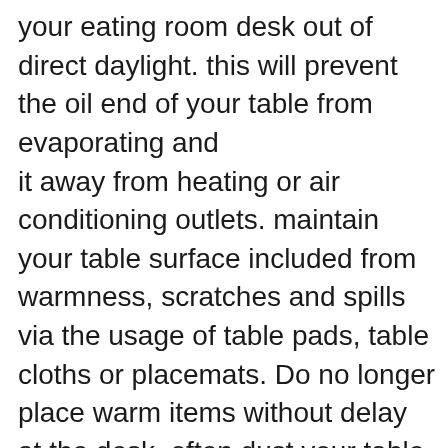your eating room desk out of direct daylight. this will prevent the oil end of your table from evaporating and it away from heating or air conditioning outlets. maintain your table surface included from warmness, scratches and spills via the usage of table pads, table cloths or placemats. Do no longer place warm items without delay at the desk. often dust your table with a slightly damp or tender dry cloth. smooth up liquid spills at once to prevent your table from soaking